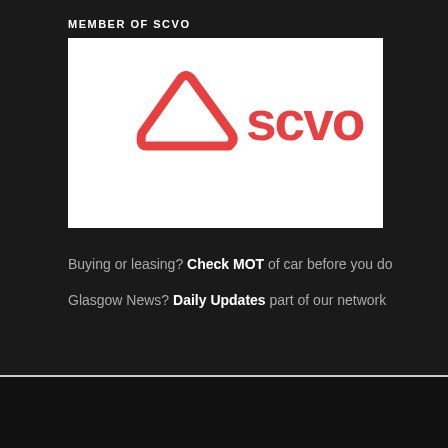MEMBER OF SCVO
[Figure (logo): SCVO logo — red triangular shape with rounded corners on left and red text 'scvo' on right, on white background]
Buying or leasing? Check MOT of car before you do
Glasgow News? Daily Updates part of our network
© Copyright - Paisley Scotland
[Figure (other): Social media icons: Twitter, Facebook, YouTube, Flickr, Pinterest, Instagram, WhatsApp]